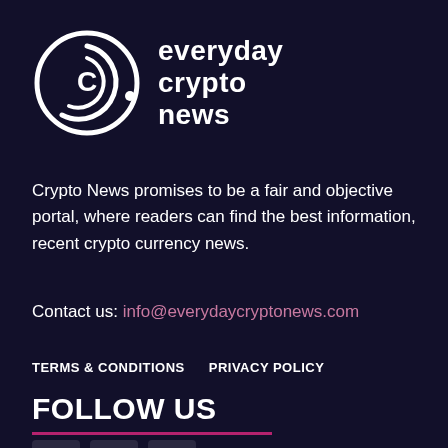[Figure (logo): Everyday Crypto News logo: circular icon with letter C and brand name]
Crypto News promises to be a fair and objective portal, where readers can find the best information, recent crypto currency news.
Contact us: info@everydaycryptonews.com
TERMS & CONDITIONS   PRIVACY POLICY
FOLLOW US